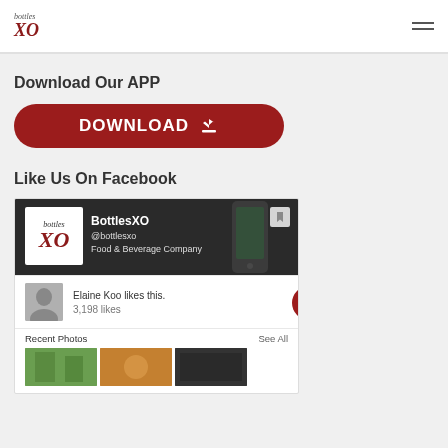bottles XO
Download Our APP
[Figure (screenshot): Red rounded download button with text DOWNLOAD and a download icon arrow]
Like Us On Facebook
[Figure (screenshot): Facebook page card for BottlesXO showing logo, @bottlesxo handle, Food & Beverage Company, Elaine Koo likes this, 3,198 likes, Recent Photos section with See All link and photo thumbnails, and a red share button]